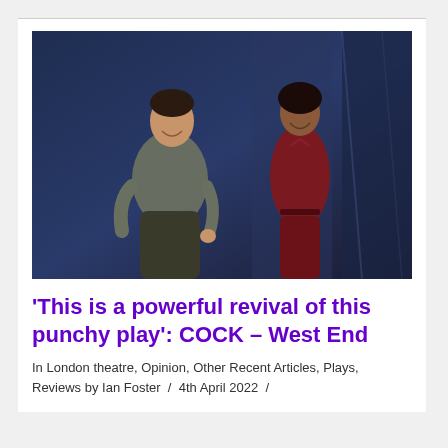[Figure (photo): Two actors on a dark stage: a man in a grey t-shirt and dark trousers on the left, and a woman in a dark red/burgundy outfit on the right, both smiling and facing each other.]
'This is a powerful revival of this punchy play': COCK – West End
In London theatre, Opinion, Other Recent Articles, Plays, Reviews by Ian Foster / 4th April 2022 /